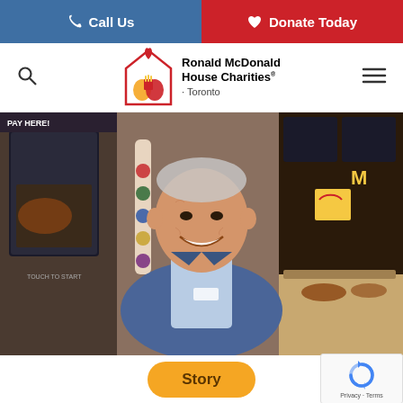Call Us | Donate Today
[Figure (logo): Ronald McDonald House Charities Toronto logo with house and hands graphic]
[Figure (photo): Smiling elderly man in blue blazer standing inside a McDonald's restaurant]
Story